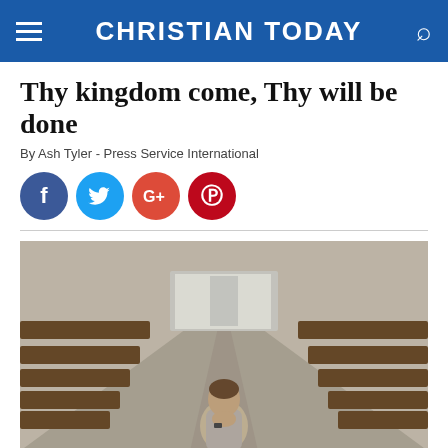CHRISTIAN TODAY
Thy kingdom come, Thy will be done
By Ash Tyler - Press Service International
[Figure (infographic): Social sharing buttons: Facebook (blue circle with f), Twitter (light blue circle with bird), Google+ (red-orange circle with G+), Pinterest (dark red circle with P)]
[Figure (photo): A man kneeling and praying with hands clasped in a church aisle, wooden pews on either side, viewed from the front, moody natural light from windows at the back.]